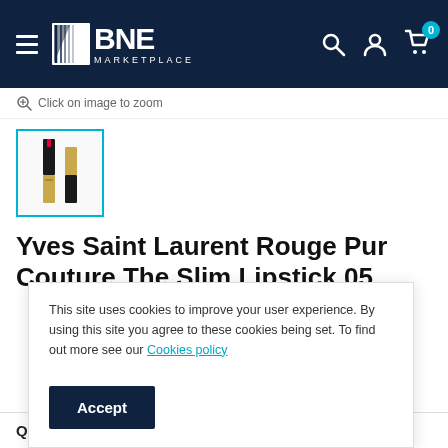BNE MARKETPLACE
Click on image to zoom
[Figure (photo): Product thumbnail of Yves Saint Laurent Rouge Pur Couture The Slim Lipstick 05, showing two lipstick tubes]
Yves Saint Laurent Rouge Pur Couture The Slim Lipstick 05
This site uses cookies to improve your user experience. By using this site you agree to these cookies being set. To find out more see our Cookies policy
Accept
Quantity: — 1 +